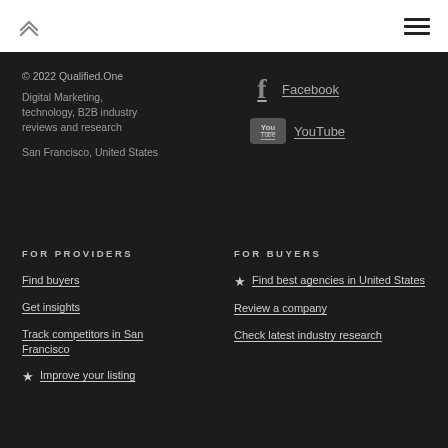© 2022 Qualified.One
Digital Marketing, technology, B2B industry reviews and research
San Francisco, United States
Facebook
YouTube
FOR PROVIDERS
Find buyers
Get insights
Track competitors in San Francisco
Improve your listing
FOR BUYERS
Find best agencies in United States
Review a company
Check latest industry research